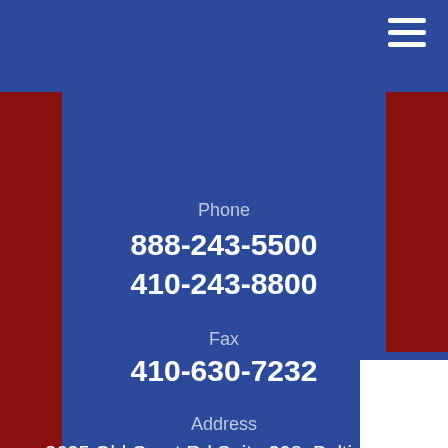Phone
888-243-5500
410-243-8800
Fax
410-630-7232
Address
3635 Old Court Rd Suite 208, Baltimore, MD 21208 4061